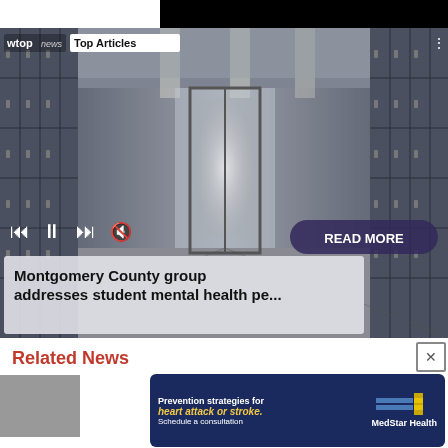[Figure (screenshot): Black bar at top of page, partial video/media player UI]
[Figure (screenshot): WTOP News media player showing a school hallway with lockers. Controls: skip back, pause, skip forward, mute. 'Top Articles' badge visible. 'READ MORE' button. Article title: 'Montgomery County group addresses student mental health pe...']
Montgomery County group addresses student mental health pe...
Related News
[Figure (photo): Small thumbnail image placeholder (grey) for related news story]
[Figure (infographic): MedStar Health advertisement: 'Prevention strategies for heart attack or stroke. Schedule a consultation.' with MedStar Health logo and flag graphic.]